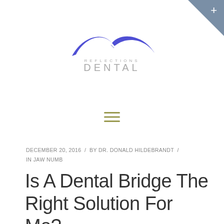[Figure (logo): Reflections Dental logo with stylized blue wave/swoosh shape above the text 'REFLECTIONS DENTAL' in grey lettering]
[Figure (other): Hamburger menu icon (three horizontal lines) in olive/gold color]
DECEMBER 20, 2016  /  BY DR. DONALD HILDEBRANDT  /  IN JAW NUMB
Is A Dental Bridge The Right Solution For Me?